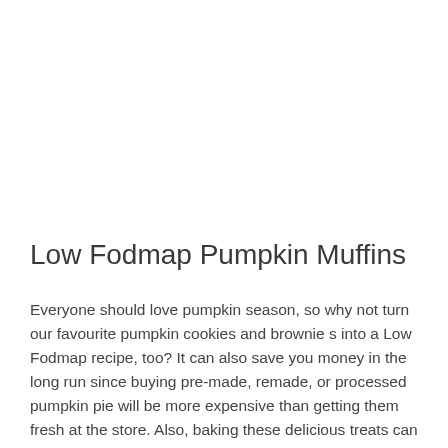Low Fodmap Pumpkin Muffins
Everyone should love pumpkin season, so why not turn our favourite pumpkin cookies and brownie s into a Low Fodmap recipe, too? It can also save you money in the long run since buying pre-made, remade, or processed pumpkin pie will be more expensive than getting them fresh at the store. Also, baking these delicious treats can be an